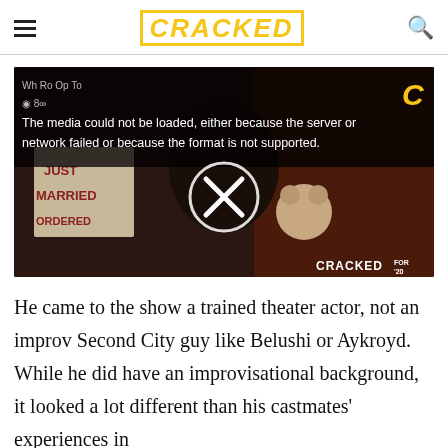CRACKED
[Figure (screenshot): Video player showing a media error message overlay: 'The media could not be loaded, either because the server or network failed or because the format is not supported.' Background shows a woman holding a stuffed animal with a 'JUST MARRIED ORDERED' sign visible. A circular X button appears in the center. CRACKED FOR 20 watermark in bottom right.]
He came to the show a trained theater actor, not an improv Second City guy like Belushi or Aykroyd. While he did have an improvisational background, it looked a lot different than his castmates' experiences in